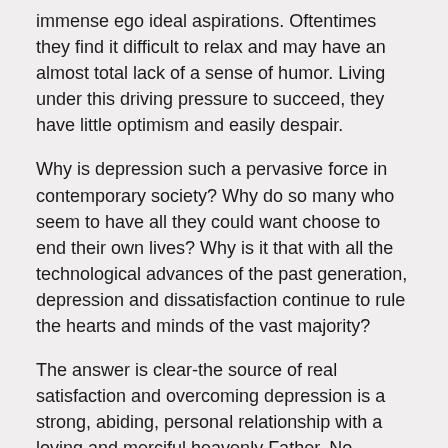immense ego ideal aspirations. Oftentimes they find it difficult to relax and may have an almost total lack of a sense of humor. Living under this driving pressure to succeed, they have little optimism and easily despair.
Why is depression such a pervasive force in contemporary society? Why do so many who seem to have all they could want choose to end their own lives? Why is it that with all the technological advances of the past generation, depression and dissatisfaction continue to rule the hearts and minds of the vast majority?
The answer is clear-the source of real satisfaction and overcoming depression is a strong, abiding, personal relationship with a loving and merciful heavenly Father. No technology every developed, no amount of money, no amount of recognition or prestige, no device or drug designed by man can ever take the place of knowing God. I am convinced that much of the depression among people in our society is directly traceable to a deep spiritual void in their lives-a void that only the Lord himself can fill. The philosopher Pascal called it "a God-shaped vacuum